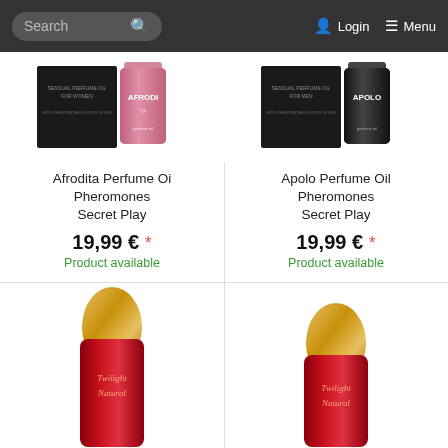Search | Login | Menu
[Figure (photo): Afrodita Perfume Oil product image showing black box packaging and pink bottle]
Afrodita Perfume Oi Pheromones Secret Play
19,99 € *
Product available
[Figure (photo): Apolo Perfume Oil product image showing black box packaging and dark bottle]
Apolo Perfume Oil Pheromones Secret Play
19,99 € *
Product available
[Figure (photo): Twilight Natural perfume bottle with gold cap and red body, partially visible]
[Figure (photo): Twilight Natural perfume bottle with gold cap and red body, partially visible, second variant]